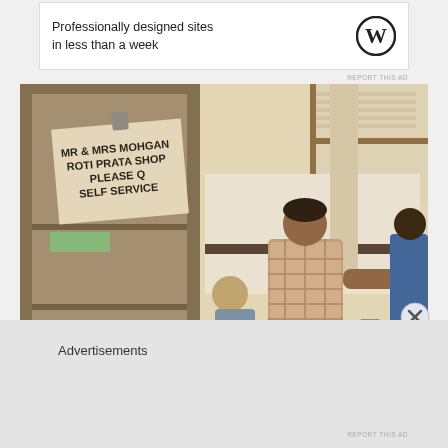[Figure (other): WordPress advertisement banner: 'Professionally designed sites in less than a week' with WordPress logo]
REPORT THIS AD
[Figure (photo): Interior photo of Mr & Mrs Mohgan Roti Prata Shop. A sign reads 'MR & MRS MOHGAN ROTI PRATA SHOP PLEASE Q SELF SERVICE' on a glass display case on the left. On the right, a man in a plaid shirt stands working at a counter. The scene is a casual food stall or hawker center.]
Advertisements
REPORT THIS AD